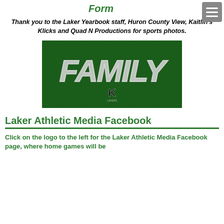Form
Thank you to the Laker Yearbook staff, Huron County View, Kaitlin's Klicks and Quad N Productions for sports photos.
[Figure (photo): Green athletic jersey with the word FAMILY printed in large white letters and a school logo below it]
Laker Athletic Media Facebook
Click on the logo to the left for the Laker Athletic Media Facebook page, where home games will be